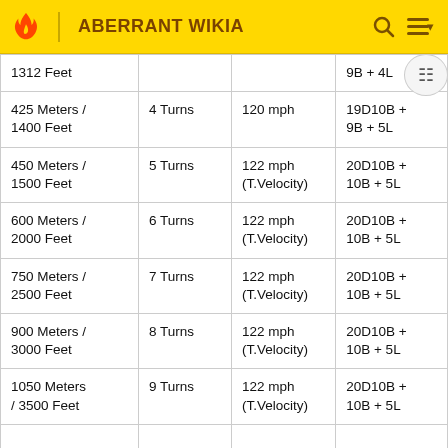ABERRANT WIKIA
| 1312 Feet |  |  | 9B + 4L |
| 425 Meters / 1400 Feet | 4 Turns | 120 mph | 19D10B + 9B + 5L |
| 450 Meters / 1500 Feet | 5 Turns | 122 mph (T.Velocity) | 20D10B + 10B + 5L |
| 600 Meters / 2000 Feet | 6 Turns | 122 mph (T.Velocity) | 20D10B + 10B + 5L |
| 750 Meters / 2500 Feet | 7 Turns | 122 mph (T.Velocity) | 20D10B + 10B + 5L |
| 900 Meters / 3000 Feet | 8 Turns | 122 mph (T.Velocity) | 20D10B + 10B + 5L |
| 1050 Meters / 3500 Feet | 9 Turns | 122 mph (T.Velocity) | 20D10B + 10B + 5L |